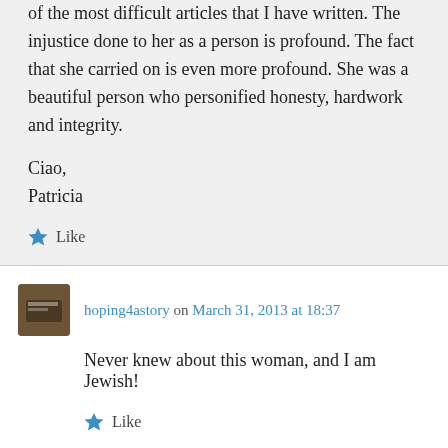of the most difficult articles that I have written. The injustice done to her as a person is profound. The fact that she carried on is even more profound. She was a beautiful person who personified honesty, hardwork and integrity.
Ciao,
Patricia
★ Like
hoping4astory on March 31, 2013 at 18:37
Never knew about this woman, and I am Jewish!
★ Like